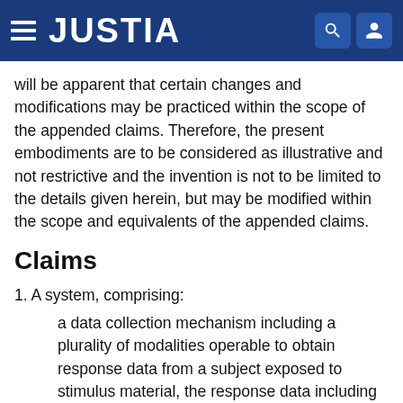JUSTIA
will be apparent that certain changes and modifications may be practiced within the scope of the appended claims. Therefore, the present embodiments are to be considered as illustrative and not restrictive and the invention is not to be limited to the details given herein, but may be modified within the scope and equivalents of the appended claims.
Claims
1. A system, comprising:
a data collection mechanism including a plurality of modalities operable to obtain response data from a subject exposed to stimulus material, the response data including central nervous system, autonomic nervous system, and effector data;